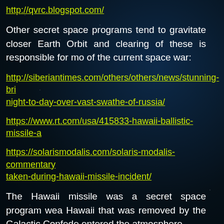http://qvrc.blogspot.com/
Other secret space programs tend to gravitate closer Earth Orbit and clearing of these is responsible for mo of the current space war:
http://siberiantimes.com/others/others/news/stunning-bri night-to-day-over-vast-swathe-of-russia/
https://www.rt.com/usa/415833-hawaii-ballistic-missile-a
https://solarismodalis.com/solaris-modalis-commentary taken-during-hawaii-missile-incident/
The Hawaii missile was a secret space program wea Hawaii that was removed by the Galactic Confede entered the atmosphere.